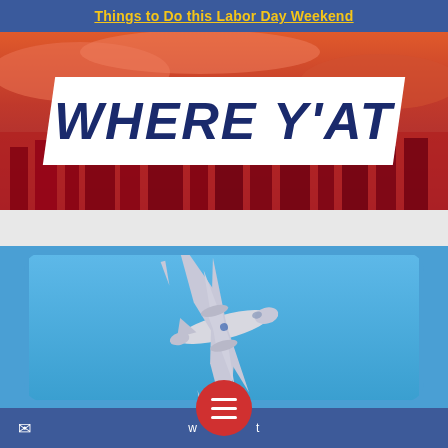Things to Do this Labor Day Weekend
[Figure (illustration): Where Y'At magazine logo/banner on a red-orange city skyline background. Large white parallelogram banner with bold dark navy text reading WHERE Y'AT in italics.]
[Figure (photo): A white military/civilian jet aircraft photographed from below against a bright blue sky, inside a rounded blue card.]
[Figure (infographic): Red circular hamburger/menu button with three white horizontal lines, overlapping the bottom of the photo card. Below is a dark navy-blue navigation bar with website URL text and an email envelope icon on the left.]